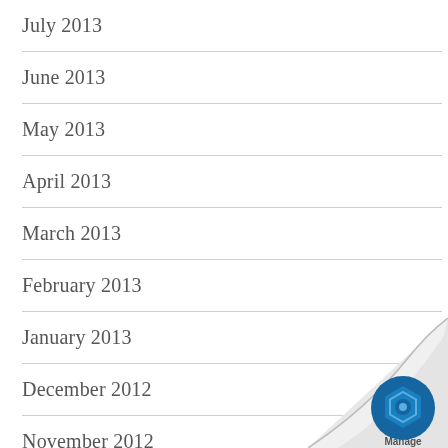July 2013
June 2013
May 2013
April 2013
March 2013
February 2013
January 2013
December 2012
November 2012
[Figure (logo): Page curl with Manage engine / b logo in bottom right corner]